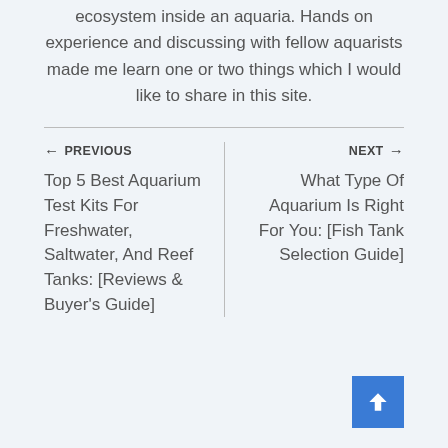ecosystem inside an aquaria. Hands on experience and discussing with fellow aquarists made me learn one or two things which I would like to share in this site.
← PREVIOUS
Top 5 Best Aquarium Test Kits For Freshwater, Saltwater, And Reef Tanks: [Reviews & Buyer's Guide]
NEXT →
What Type Of Aquarium Is Right For You: [Fish Tank Selection Guide]